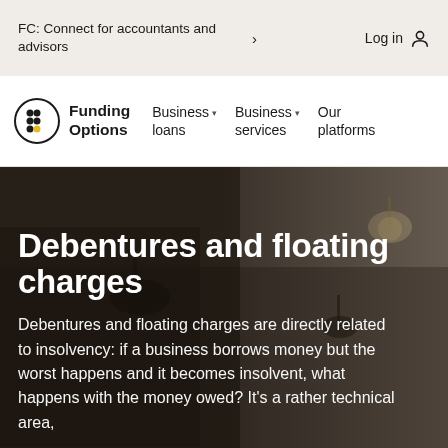FC: Connect for accountants and advisors  >   Log in
[Figure (logo): Funding Options logo: circular icon with 6 dots (top 4 black, bottom 2 black and yellow) beside bold text 'Funding Options']
Business loans  v   Business services  v   Our platforms
Debentures and floating charges
Debentures and floating charges are directly related to insolvency: if a business borrows money but the worst happens and it becomes insolvent, what happens with the money owed? It's a rather technical area,